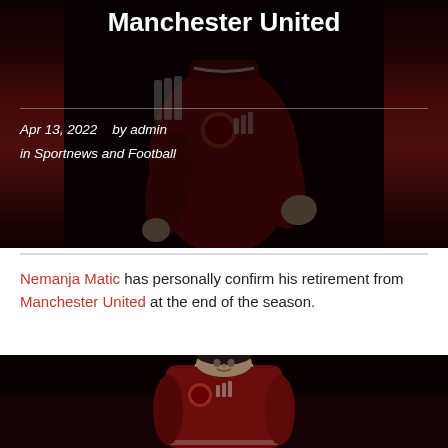[Figure (photo): Manchester United player in red jersey running, dark background with hero image overlay showing 'Manchester United' title text, date Apr 13 2022, by admin, in Sportnews and Football]
Manchester United
Apr 13, 2022   by admin
in Sportnews and Football
Nemanja Matic has personally confirm his retirement from Manchester United at the end of the season.
[Figure (photo): Nemanja Matic in Manchester United red jersey, close-up portrait against dark background]